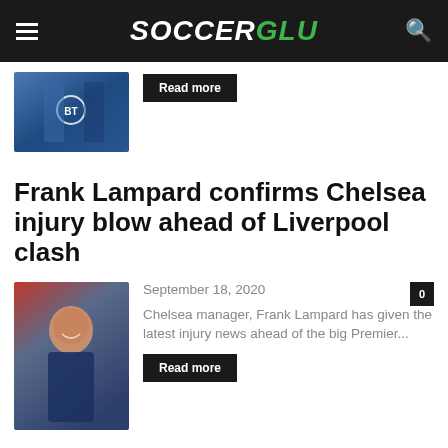SOCCERGLU
[Figure (photo): Soccer player in blue BT-sponsored England kit running]
Read more
Frank Lampard confirms Chelsea injury blow ahead of Liverpool clash
[Figure (photo): Frank Lampard smiling in blue tracksuit on pitch sideline]
September 18, 2020
Chelsea manager, Frank Lampard has given the latest injury news ahead of the big Premier...
Read more
Man Utd plan £160m triple signing after Brighton and Hove scare